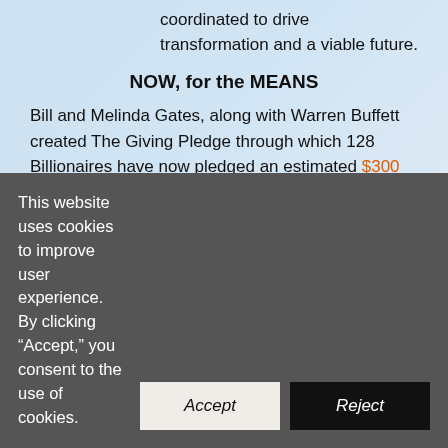coordinated to drive transformation and a viable future.
NOW, for the MEANS
Bill and Melinda Gates, along with Warren Buffett created The Giving Pledge through which 128 Billionaires have now pledged an estimated $300 Billion to Philanthropic causes.  With just 3% of the pledged funds, the $10 billion devoted can engender a viable future.
Three billion dollars is plenty when dispensed
This website uses cookies to improve user experience. By clicking “Accept,” you consent to the use of cookies.